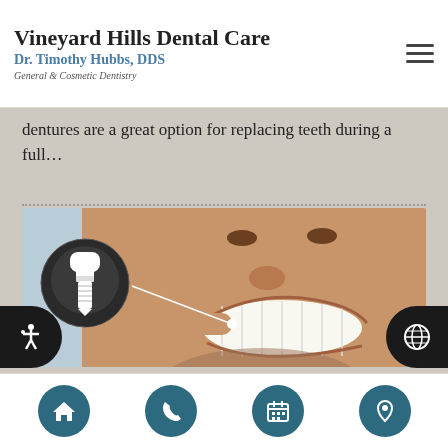Vineyard Hills Dental Care
Dr. Timothy Hubbs, DDS
General & Cosmetic Dentistry
dentures are a great option for replacing teeth during a full…
[Figure (photo): Close-up photo of a smiling man with beard pointing at his teeth, with a dental implant icon overlay in the top-left corner]
Navigation icons: home, phone, calendar, location